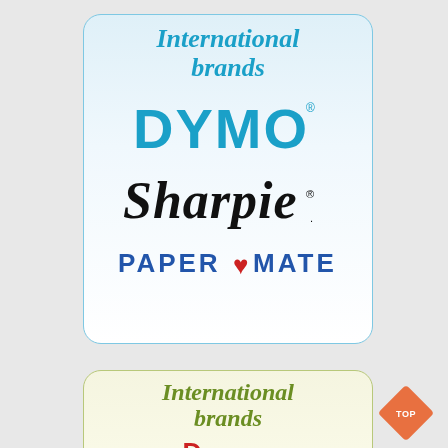[Figure (illustration): Blue rounded card with International brands heading and DYMO, Sharpie, Paper Mate logos]
[Figure (illustration): Green/cream rounded card with International brands heading (partial view, olive green text) and partial red Dymo logo at bottom]
[Figure (other): Orange diamond shaped TOP navigation button on right side]